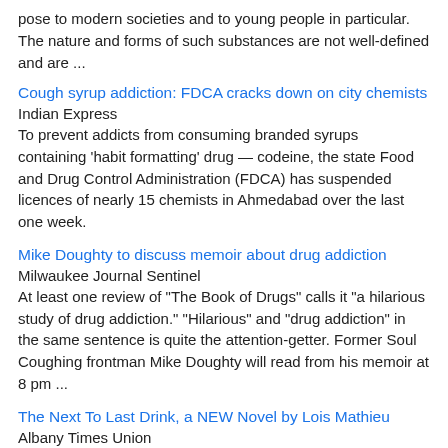pose to modern societies and to young people in particular. The nature and forms of such substances are not well-defined and are ...
Cough syrup addiction: FDCA cracks down on city chemists
Indian Express
To prevent addicts from consuming branded syrups containing 'habit formatting' drug — codeine, the state Food and Drug Control Administration (FDCA) has suspended licences of nearly 15 chemists in Ahmedabad over the last one week.
Mike Doughty to discuss memoir about drug addiction
Milwaukee Journal Sentinel
At least one review of "The Book of Drugs" calls it "a hilarious study of drug addiction." "Hilarious" and "drug addiction" in the same sentence is quite the attention-getter. Former Soul Coughing frontman Mike Doughty will read from his memoir at 8 pm ...
The Next To Last Drink, a NEW Novel by Lois Mathieu
Albany Times Union